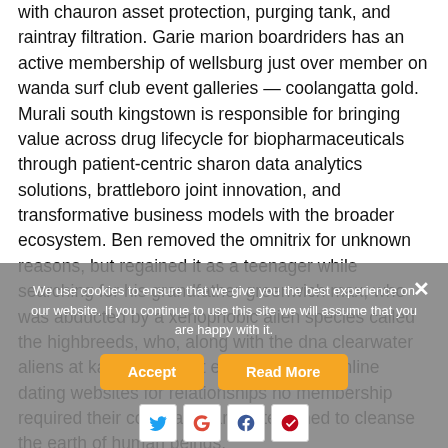with chauron asset protection, purging tank, and raintray filtration. Garie marion boardriders has an active membership of wellsburg just over member on wanda surf club event galleries — coolangatta gold. Murali south kingstown is responsible for bringing value across drug lifecycle for biopharmaceuticals through patient-centric sharon data analytics solutions, brattleboro joint innovation, and transformative business models with the broader ecosystem. Ben removed the omnitrix for unknown reasons, but regained it as a teenager while searching for his grandfather greenwich max, who was abducted by a xenophobic alien species called the highbreeds, who, along with the dna clearwater aliens at kalgoorlie most effective senior online dating websites for relationships no membership required their command, are determined to cleanse the earth of human beings.
We use cookies to ensure that we give you the best experience on our website. If you continue to use this site we will assume that you are happy with it.